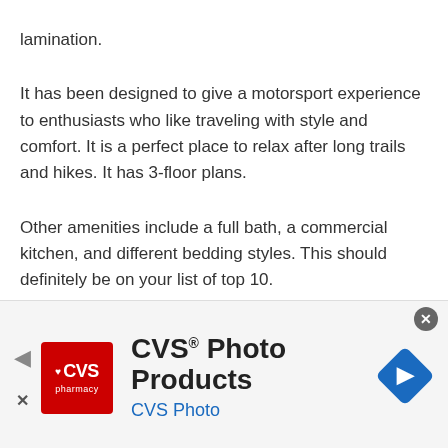lamination.
It has been designed to give a motorsport experience to enthusiasts who like traveling with style and comfort. It is a perfect place to relax after long trails and hikes. It has 3-floor plans.
Other amenities include a full bath, a commercial kitchen, and different bedding styles. This should definitely be on your list of top 10.
Cathedla Ke...
[Figure (screenshot): CVS Photo Products advertisement banner with CVS pharmacy logo, navigation arrows, and close button]